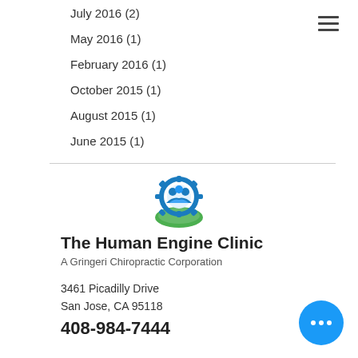July 2016 (2)
May 2016 (1)
February 2016 (1)
October 2015 (1)
August 2015 (1)
June 2015 (1)
[Figure (logo): The Human Engine Clinic logo — circular emblem with blue gear/people and green hill]
The Human Engine Clinic
A Gringeri Chiropractic Corporation
3461 Picadilly Drive
San Jose, CA 95118
408-984-7444